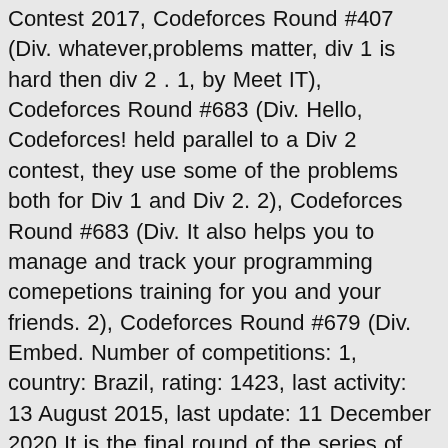Contest 2017, Codeforces Round #407 (Div. whatever,problems matter, div 1 is hard then div 2 . 1, by Meet IT), Codeforces Round #683 (Div. Hello, Codeforces! held parallel to a Div 2 contest, they use some of the problems both for Div 1 and Div 2. 2), Codeforces Round #683 (Div. It also helps you to manage and track your programming comepetions training for you and your friends. 2), Codeforces Round #679 (Div. Embed. Number of competitions: 1, country: Brazil, rating: 1423, last activity: 13 August 2015, last update: 11 December 2020 It is the final round of the series of Codeforces Global Rounds 2020 supported by XTX Markets. First 3 problems are usually greedy/constructive or some observation based. Best Deals From codeforces.com Codeforces. Codeforces is a website that hosts competitive programming contests. GitHub Gist: instantly share code, notes, and snippets. Programming competitions and contests, programming community. This is when I gave up the idea of quitting! Usually, the first problem is the easiest, and the last problem is the hardest. Codeforces Div 3 Contests Coupons, Promo Codes 09-2020 Code www.couponupto.com. Preview this course